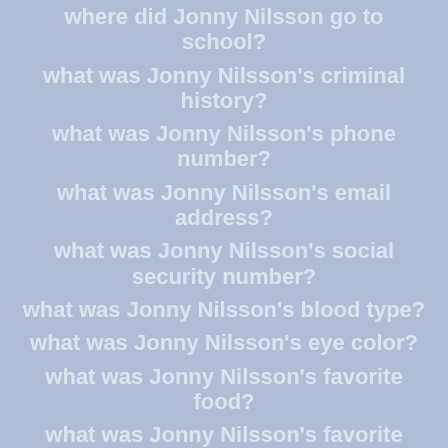where did Jonny Nilsson go to school?
what was Jonny Nilsson's criminal history?
what was Jonny Nilsson's phone number?
what was Jonny Nilsson's email address?
what was Jonny Nilsson's social security number?
what was Jonny Nilsson's blood type?
what was Jonny Nilsson's eye color?
what was Jonny Nilsson's favorite food?
what was Jonny Nilsson's favorite movie?
what was Jonny Nilsson's favorite band?
what was Jonny Nilsson's favorite colour?